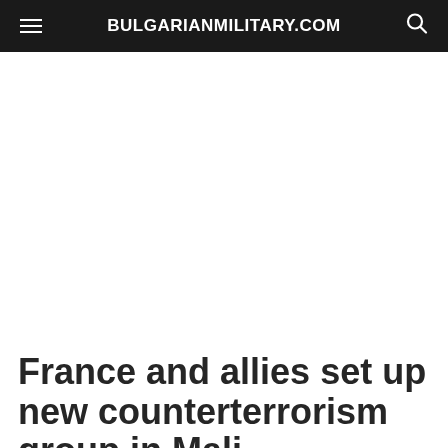BULGARIANMILITARY.COM
France and allies set up new counterterrorism group in Mali